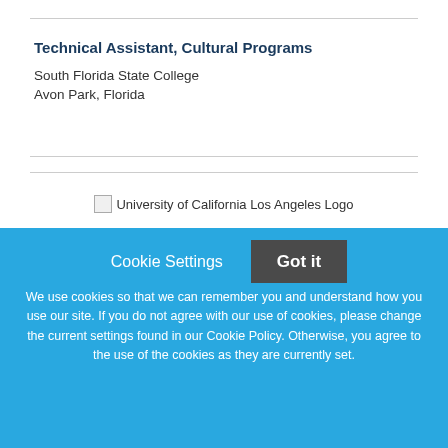Technical Assistant, Cultural Programs
South Florida State College
Avon Park, Florida
[Figure (logo): University of California Los Angeles Logo (broken image placeholder)]
UCLA Extension 2022-23 Part-Time Jobs... (partially visible heading)
Cookie Settings   Got it

We use cookies so that we can remember you and understand how you use our site. If you do not agree with our use of cookies, please change the current settings found in our Cookie Policy. Otherwise, you agree to the use of the cookies as they are currently set.